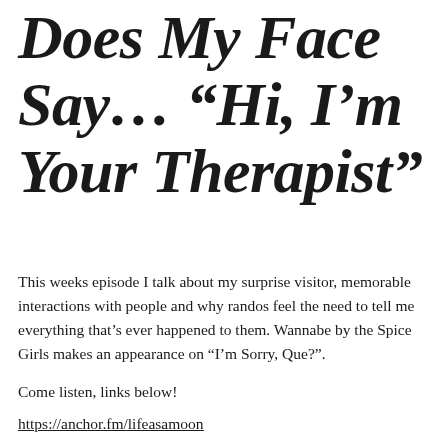Does My Face Say… “Hi, I’m Your Therapist”
This weeks episode I talk about my surprise visitor, memorable interactions with people and why randos feel the need to tell me everything that’s ever happened to them. Wannabe by the Spice Girls makes an appearance on “I’m Sorry, Que?”.
Come listen, links below!
https://anchor.fm/lifeasamoon